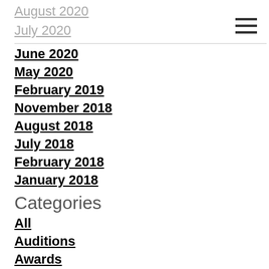August 2020
July 2020
June 2020
May 2020
February 2019
November 2018
August 2018
July 2018
February 2018
January 2018
Categories
All
Auditions
Awards
Benefits Of Dance
Blues
Classes
Covid